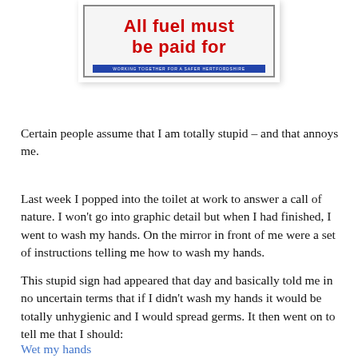[Figure (photo): A sign reading 'All fuel must be paid for' in bold red text on a light background, with a blue banner at the bottom reading 'WORKING TOGETHER FOR A SAFER HERTFORDSHIRE']
Certain people assume that I am totally stupid – and that annoys me.
Last week I popped into the toilet at work to answer a call of nature. I won't go into graphic detail but when I had finished, I went to wash my hands. On the mirror in front of me were a set of instructions telling me how to wash my hands.
This stupid sign had appeared that day and basically told me in no uncertain terms that if I didn't wash my hands it would be totally unhygienic and I would spread germs. It then went on to tell me that I should:
Wet my hands